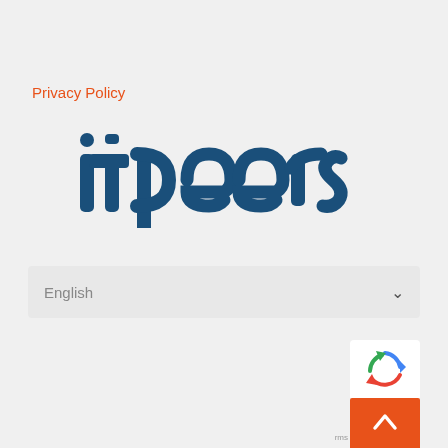Privacy Policy
[Figure (logo): itpeers logo in dark blue with rounded letter styling]
English
[Figure (other): reCAPTCHA badge with recycle-style arrows icon]
[Figure (other): Orange scroll-to-top button with upward chevron arrow]